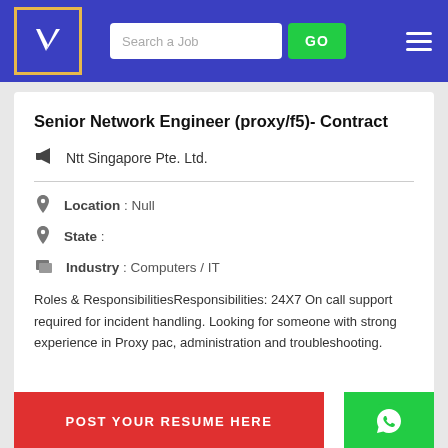Search a Job | GO
Senior Network Engineer (proxy/f5)- Contract
Ntt Singapore Pte. Ltd.
Location : Null
State :
Industry : Computers / IT
Roles & ResponsibilitiesResponsibilities: 24X7 On call support required for incident handling. Looking for someone with strong experience in Proxy pac, administration and troubleshooting.
[Figure (other): POST YOUR RESUME HERE button overlay in red, and WhatsApp button in green]